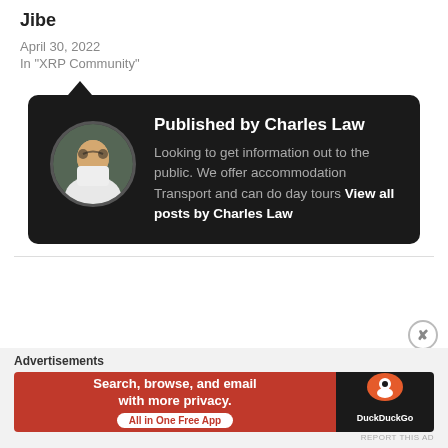Jibe
April 30, 2022
In "XRP Community"
[Figure (infographic): Author card with dark background showing profile photo of Charles Law and biography text]
Published by Charles Law
Looking to get information out to the public. We offer accommodation Transport and can do day tours View all posts by Charles Law
Advertisements
[Figure (screenshot): DuckDuckGo advertisement banner: 'Search, browse, and email with more privacy. All in One Free App' with DuckDuckGo logo on dark right panel]